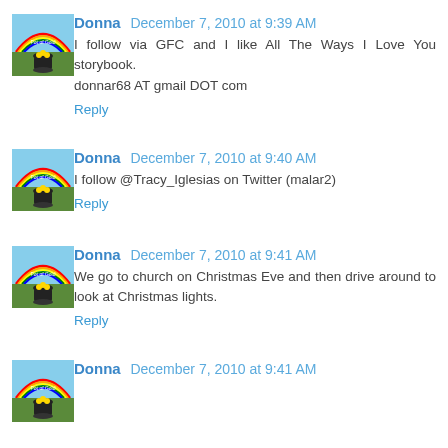[Figure (illustration): Avatar image showing pot of gold with rainbow illustration]
Donna December 7, 2010 at 9:39 AM
I follow via GFC and I like All The Ways I Love You storybook.
donnar68 AT gmail DOT com
Reply
[Figure (illustration): Avatar image showing pot of gold with rainbow illustration]
Donna December 7, 2010 at 9:40 AM
I follow @Tracy_Iglesias on Twitter (malar2)
Reply
[Figure (illustration): Avatar image showing pot of gold with rainbow illustration]
Donna December 7, 2010 at 9:41 AM
We go to church on Christmas Eve and then drive around to look at Christmas lights.
Reply
[Figure (illustration): Avatar image showing pot of gold with rainbow illustration]
Donna December 7, 2010 at 9:41 AM